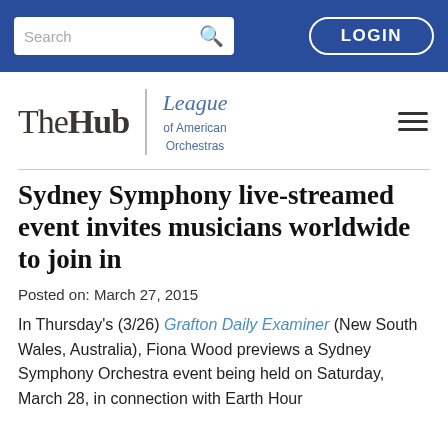Search | LOGIN
[Figure (logo): The Hub | League of American Orchestras logo with hamburger menu]
Sydney Symphony live-streamed event invites musicians worldwide to join in
Posted on: March 27, 2015
In Thursday's (3/26) Grafton Daily Examiner (New South Wales, Australia), Fiona Wood previews a Sydney Symphony Orchestra event being held on Saturday, March 28, in connection with Earth Hour